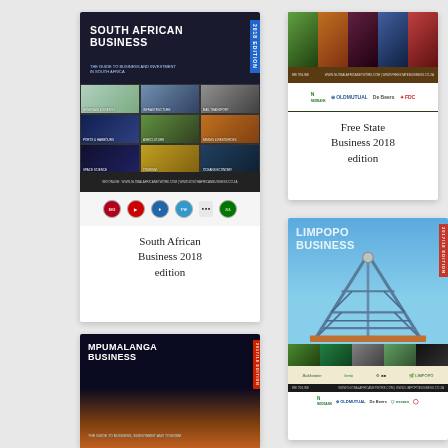[Figure (illustration): Cover of South African Business 2018 edition book with photo grid of various South African scenes and sponsor logos]
South African Business 2018 edition
[Figure (illustration): Cover of Free State Business 2018 edition with photo strip and sponsor logos including Nedbank, Old Mutual, De Beers, FDC]
Free State Business 2018 edition
[Figure (illustration): Cover of Limpopo Business 2017/18 edition featuring a mining headgear tower and sponsor logos]
[Figure (illustration): Partial cover of Mpumalanga Business 2017/18 edition with city night skyline]